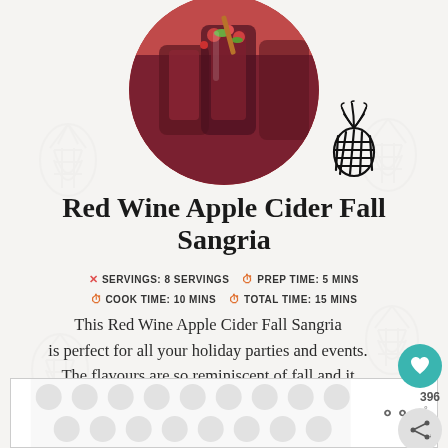[Figure (photo): Circular cropped photo of red wine apple cider fall sangria drinks in glasses with fruit garnishes]
[Figure (logo): Hand-drawn pineapple outline logo in black]
Red Wine Apple Cider Fall Sangria
SERVINGS: 8 SERVINGS   PREP TIME: 5 MINS   COOK TIME: 10 MINS   TOTAL TIME: 15 MINS
This Red Wine Apple Cider Fall Sangria is perfect for all your holiday parties and events. The flavours are so reminiscent of fall and it tastes amazing!
[Figure (other): Advertisement banner at the bottom with dot pattern and Mediavine logo]